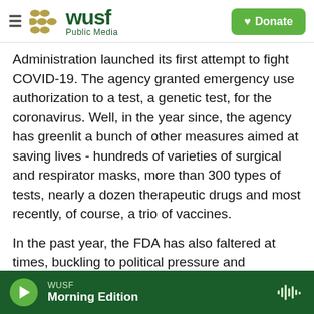WUSF Public Media — Donate
Administration launched its first attempt to fight COVID-19. The agency granted emergency use authorization to a test, a genetic test, for the coronavirus. Well, in the year since, the agency has greenlit a bunch of other measures aimed at saving lives - hundreds of varieties of surgical and respirator masks, more than 300 types of tests, nearly a dozen therapeutic drugs and most recently, of course, a trio of vaccines.
In the past year, the FDA has also faltered at times, buckling to political pressure and misrepresenting basic science. Now, under a new administration,
WUSF — Morning Edition